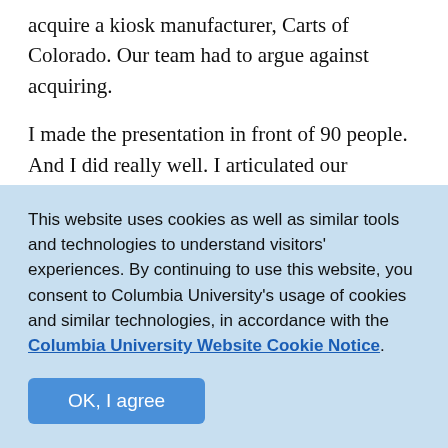acquire a kiosk manufacturer, Carts of Colorado. Our team had to argue against acquiring.
I made the presentation in front of 90 people. And I did really well. I articulated our argument, even making a few jokes here and there. At the end, when the class voted on which team had presented the best argument, they picked ours. Ever since then, when I've had to give a big presentation in front of very
This website uses cookies as well as similar tools and technologies to understand visitors' experiences. By continuing to use this website, you consent to Columbia University's usage of cookies and similar technologies, in accordance with the Columbia University Website Cookie Notice.
OK, I agree